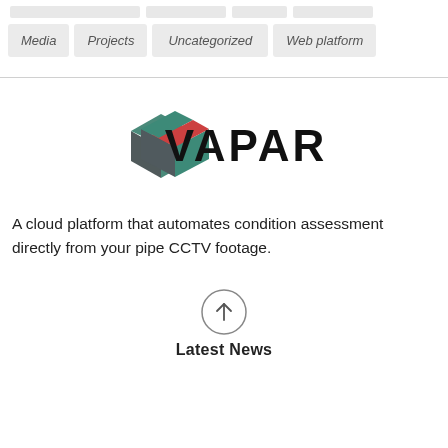[Figure (other): Navigation bar with placeholder items (greyed out) and category buttons: Media, Projects, Uncategorized, Web platform]
[Figure (logo): VAPAR logo: a 3D cube icon in dark teal, grey, and red/coral colors, with the text VAPAR in large bold letters]
A cloud platform that automates condition assessment directly from your pipe CCTV footage.
[Figure (other): Circle with upward arrow icon above Latest News label]
Latest News